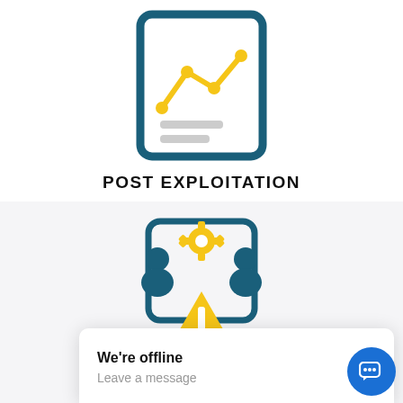[Figure (illustration): Icon of a document/report with a yellow line chart and dots on top, and two gray horizontal lines below, bordered by a dark teal rounded rectangle outline.]
POST EXPLOITATION
[Figure (illustration): Icon showing two blue human figures on either side of a teal rounded rectangle, with a yellow gear at the top center and a yellow warning/triangle sign at the bottom center.]
STRATEGIC MITIGATION
We're offline
Leave a message